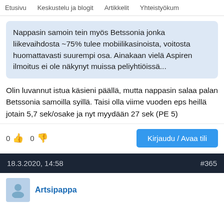Etusivu   Keskustelu ja blogit   Artikkelit   Yhteistyökum
Nappasin samoin tein myös Betssonia jonka liikevaihdosta ~75% tulee mobiilikasinoista, voitosta huomattavasti suurempi osa. Ainakaan vielä Aspiren ilmoitus ei ole näkynyt muissa peliyhtiöissä...
Olin luvannut istua käsieni päällä, mutta nappasin salaa palan Betssonia samoilla syillä. Taisi olla viime vuoden eps heillä jotain 5,7 sek/osake ja nyt myydään 27 sek (PE 5)
0  0   Kirjaudu / Avaa tili
18.3.2020, 14:58   #365
Artsipappa